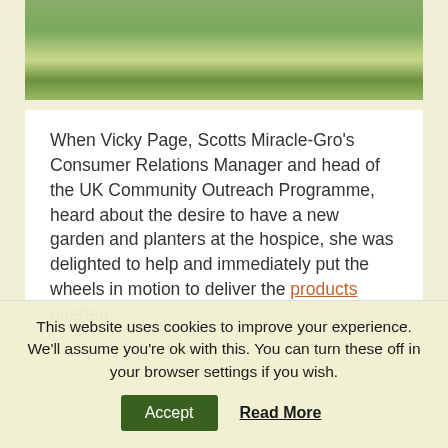[Figure (photo): Partial view of green leafy plants in a garden planter, seen from above with a dark wooden border visible at the bottom of the frame.]
When Vicky Page, Scotts Miracle-Gro's Consumer Relations Manager and head of the UK Community Outreach Programme, heard about the desire to have a new garden and planters at the hospice, she was delighted to help and immediately put the wheels in motion to deliver the products needed.
This website uses cookies to improve your experience. We'll assume you're ok with this. You can turn these off in your browser settings if you wish.
Accept
Read More